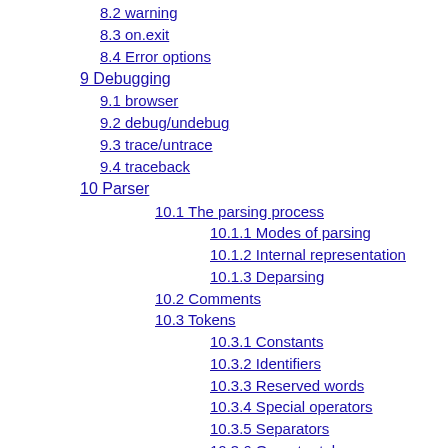8.2 warning
8.3 on.exit
8.4 Error options
9 Debugging
9.1 browser
9.2 debug/undebug
9.3 trace/untrace
9.4 traceback
10 Parser
10.1 The parsing process
10.1.1 Modes of parsing
10.1.2 Internal representation
10.1.3 Deparsing
10.2 Comments
10.3 Tokens
10.3.1 Constants
10.3.2 Identifiers
10.3.3 Reserved words
10.3.4 Special operators
10.3.5 Separators
10.3.6 Operator tokens
10.3.7 Grouping
10.3.8 Indexing tokens